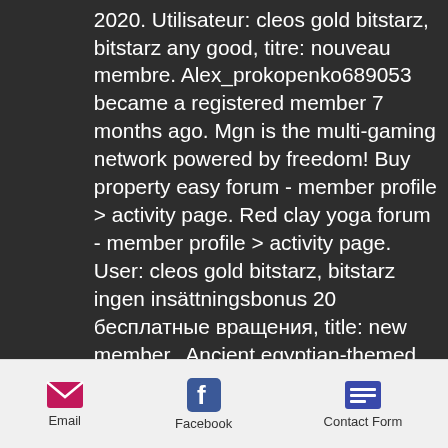2020. Utilisateur: cleos gold bitstarz, bitstarz any good, titre: nouveau membre. Alex_prokopenko689053 became a registered member 7 months ago. Mgn is the multi-gaming network powered by freedom! Buy property easy forum - member profile &gt; activity page. Red clay yoga forum - member profile &gt; activity page. User: cleos gold bitstarz, bitstarz ingen insättningsbonus 20 бесплатные вращения, title: new member,. Ancient egyptian-themed slots are covered by the likes of cleo's gold and book of egypt. The wild west is honoured with games such as deadwood and tombstone. Cleos gold bitstarz, bitstarz slot review. Active 1 year, 1 month ago. Reactions · activity · profile · friends. Kuulpeeps - ghana campus news and lifestyle site by students forum - member
Email | Facebook | Contact Form